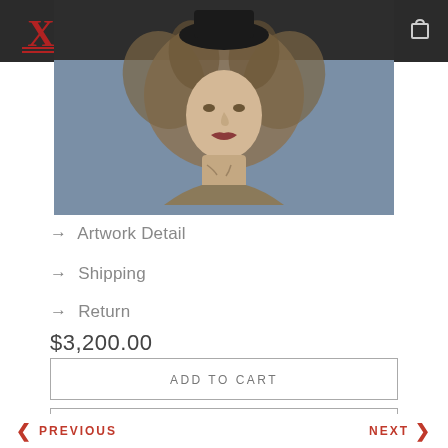Navigation bar with logo, hamburger menu, and cart icon
[Figure (photo): Painting of a female bust/portrait figure with feathery hair and pale face against a blue-grey wall background]
→ Artwork Detail
→ Shipping
→ Return
$3,200.00
ADD TO CART
ENQUIRE
< PREVIOUS   NEXT >